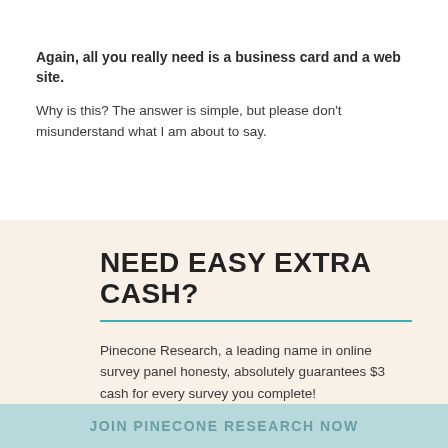Again, all you really need is a business card and a web site.
Why is this? The answer is simple, but please don't misunderstand what I am about to say.
NEED EASY EXTRA CASH?
Pinecone Research, a leading name in online survey panel honesty, absolutely guarantees $3 cash for every survey you complete!
Take advantage of their time limited New Membership drive and register NOW. Join today: 100% free!
JOIN PINECONE RESEARCH NOW